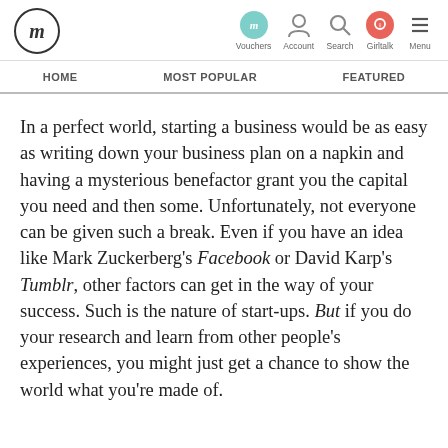Vouchers | Account | Search | Girltalk | Menu
HOME | MOST POPULAR | FEATURED
In a perfect world, starting a business would be as easy as writing down your business plan on a napkin and having a mysterious benefactor grant you the capital you need and then some. Unfortunately, not everyone can be given such a break. Even if you have an idea like Mark Zuckerberg's Facebook or David Karp's Tumblr, other factors can get in the way of your success. Such is the nature of start-ups. But if you do your research and learn from other people's experiences, you might just get a chance to show the world what you're made of.